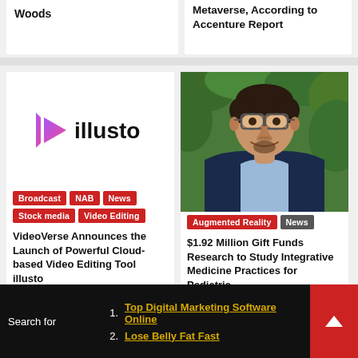Woods
Metaverse, According to Accenture Report
[Figure (logo): illusto logo with stylized play button icon in purple/pink gradient and the word 'illusto' in black]
Broadcast
NAB
News
Stock media
Video Editing
VideoVerse Announces the Launch of Powerful Cloud-based Video Editing Tool illusto
[Figure (photo): Headshot of a middle-aged man with glasses, wearing a dark blazer, smiling, with green foliage background]
Augmented Reality
News
$1.92 Million Gift Funds Research to Study Integrative Medicine Practices for Pediatric
Search for
1. Top Digital Marketing Software Online
2. Lose Belly Fat Fast